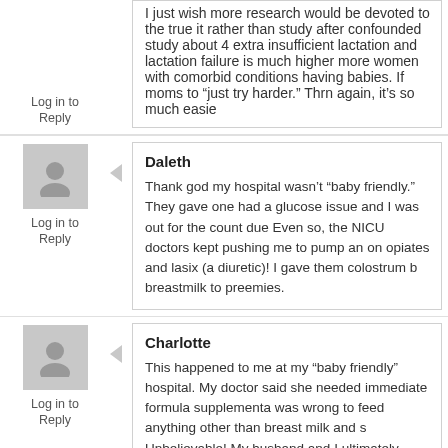I just wish more research would be devoted to the true it rather than study after confounded study about 4 extra insufficient lactation and lactation failure is much higher more women with comorbid conditions having babies. If moms to “just try harder.” Thrn again, it’s so much easie
Log in to Reply
Daleth
Thank god my hospital wasn’t “baby friendly.” They gave one had a glucose issue and I was out for the count due Even so, the NICU doctors kept pushing me to pump an on opiates and lasix (a diuretic)! I gave them colostrum b breastmilk to preemies.
Log in to Reply
Charlotte
This happened to me at my “baby friendly” hospital. My doctor said she needed immediate formula supplementa was wrong to feed anything other than breast milk and s Unbelievable! My husband and I ultimately decided to sn backs. When we got caught the next day, we got chewe